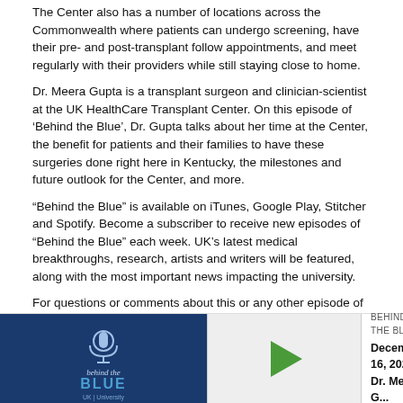The Center also has a number of locations across the Commonwealth where patients can undergo screening, have their pre- and post-transplant follow appointments, and meet regularly with their providers while still staying close to home.
Dr. Meera Gupta is a transplant surgeon and clinician-scientist at the UK HealthCare Transplant Center. On this episode of ‘Behind the Blue’, Dr. Gupta talks about her time at the Center, the benefit for patients and their families to have these surgeries done right here in Kentucky, the milestones and future outlook for the Center, and more.
“Behind the Blue” is available on iTunes, Google Play, Stitcher and Spotify. Become a subscriber to receive new episodes of “Behind the Blue” each week. UK’s latest medical breakthroughs, research, artists and writers will be featured, along with the most important news impacting the university.
For questions or comments about this or any other episode of “Behind the Blue,” email BehindTheBlue@uky.edu or tweet your question with #BehindTheBlue. Transcripts for this or other episodes of Behind the Blue can be downloaded from the show’s blog page.
To discover what’s wildly possible at the University of Kentucky, click here.
[Figure (other): Podcast widget showing 'Behind the Blue' logo with microphone icon on dark blue background, a green play button triangle, and text showing 'BEHIND THE BLUE' and 'December 16, 2021 - Dr. Meera G...']